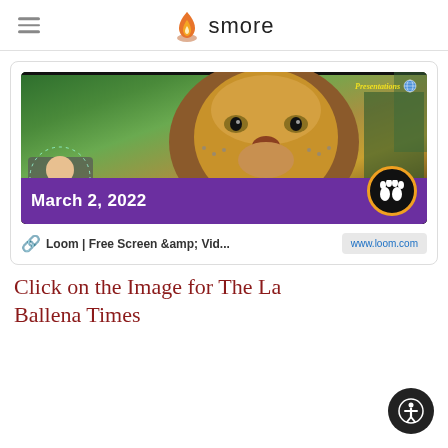smore
[Figure (screenshot): Screenshot of a Loom video thumbnail showing a lion photo with a student, purple banner reading 'March 2, 2022', and paw print icon]
Loom | Free Screen &amp; Vid...
www.loom.com
Click on the Image for The La Ballena Times